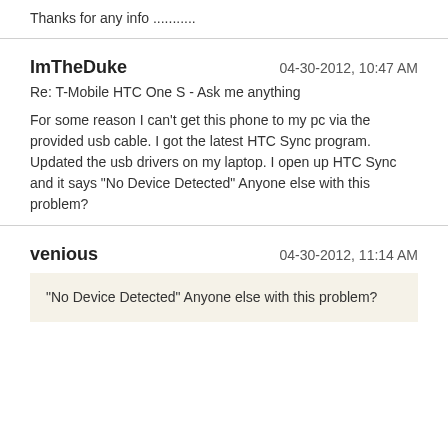Thanks for any info ...........
ImTheDuke
04-30-2012, 10:47 AM
Re: T-Mobile HTC One S - Ask me anything
For some reason I can't get this phone to my pc via the provided usb cable. I got the latest HTC Sync program. Updated the usb drivers on my laptop. I open up HTC Sync and it says "No Device Detected" Anyone else with this problem?
venious
04-30-2012, 11:14 AM
"No Device Detected" Anyone else with this problem?